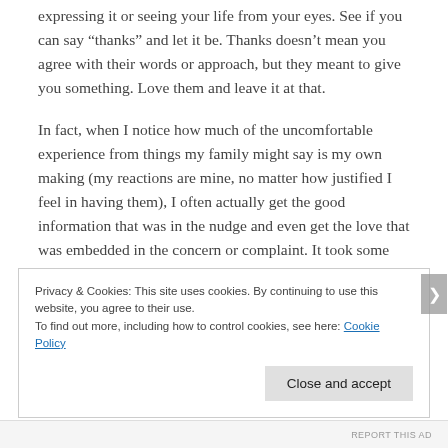expressing it or seeing your life from your eyes. See if you can say “thanks” and let it be. Thanks doesn’t mean you agree with their words or approach, but they meant to give you something. Love them and leave it at that.
In fact, when I notice how much of the uncomfortable experience from things my family might say is my own making (my reactions are mine, no matter how justified I feel in having them), I often actually get the good information that was in the nudge and even get the love that was embedded in the concern or complaint. It took some work. I needed to be able to love them and leave it first.
Privacy & Cookies: This site uses cookies. By continuing to use this website, you agree to their use.
To find out more, including how to control cookies, see here: Cookie Policy
Close and accept
REPORT THIS AD